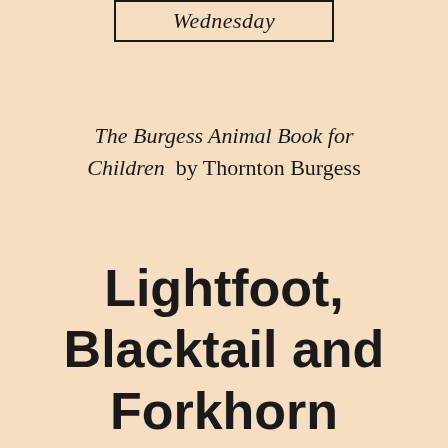Wednesday
The Burgess Animal Book for Children by Thornton Burgess
Lightfoot, Blacktail and Forkhorn